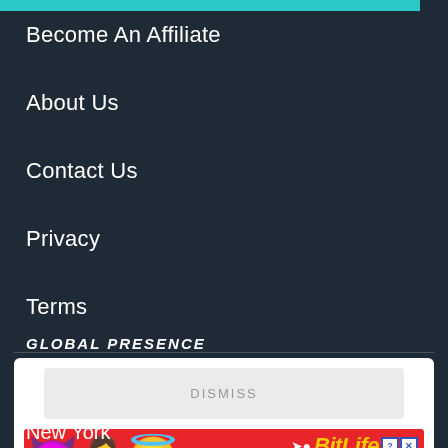Become An Affiliate
About Us
Contact Us
Privacy
Terms
GLOBAL PRESENCE
[Figure (screenshot): Advertisement overlay with DISMISS button and BitLife app ad showing emoji characters (devil, person, smiling face with halo) and text 'REAL CHOICES' on red background]
New York